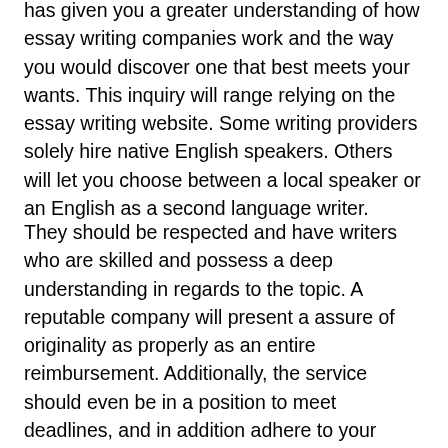has given you a greater understanding of how essay writing companies work and the way you would discover one that best meets your wants. This inquiry will range relying on the essay writing website. Some writing providers solely hire native English speakers. Others will let you choose between a local speaker or an English as a second language writer.
They should be respected and have writers who are skilled and possess a deep understanding in regards to the topic. A reputable company will present a assure of originality as properly as an entire reimbursement. Additionally, the service should even be in a position to meet deadlines, and in addition adhere to your tutorial standards. The worry of plagiarism in some freed from cost pieces of writing is strictly the rationale why we pay cash for essays online. You can not simply use some already obtainable papers because you donât know whether or not they are plagiarized or not. To use solely the top quality materials for doing all your